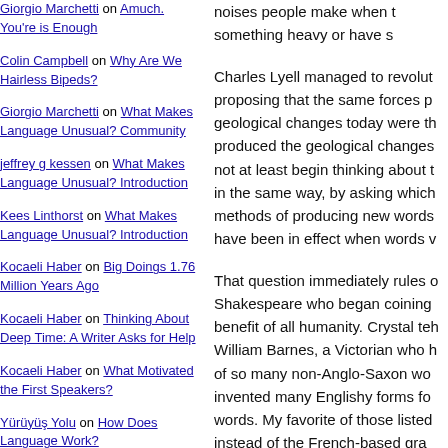Giorgio Marchetti on Enough
Colin Campbell on Why Are We Hairless Bipeds?
Giorgio Marchetti on What Makes Language Unusual? Community
jeffrey g kessen on What Makes Language Unusual? Introduction
Kees Linthorst on What Makes Language Unusual? Introduction
Kocaeli Haber on Big Doings 1.76 Million Years Ago
Kocaeli Haber on Thinking About Deep Time: A Writer Asks for Help
Kocaeli Haber on What Motivated the First Speakers?
Yürüyüş Yolu on How Does Language Work?
KEEP ON SURFING
Abnormal Interests
Biolinguistics
noises people make when t something heavy or have s
Charles Lyell managed to revolut proposing that the same forces p geological changes today were th produced the geological changes not at least begin thinking about t in the same way, by asking which methods of producing new words have been in effect when words v
That question immediately rules o Shakespeare who began coining benefit of all humanity. Crystal teh William Barnes, a Victorian who h of so many non-Anglo-Saxon wo invented many Englishy forms fo words. My favorite of those listed instead of the French-based gra